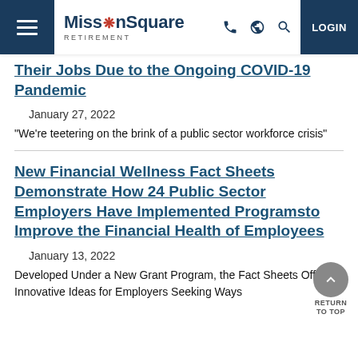MissionSquare RETIREMENT — LOGIN
Their Jobs Due to the Ongoing COVID-19 Pandemic
January 27, 2022
"We're teetering on the brink of a public sector workforce crisis"
New Financial Wellness Fact Sheets Demonstrate How 24 Public Sector Employers Have Implemented Programsto Improve the Financial Health of Employees
January 13, 2022
Developed Under a New Grant Program, the Fact Sheets Offer Innovative Ideas for Employers Seeking Ways